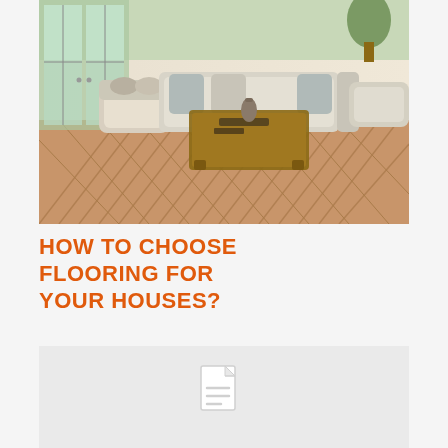[Figure (photo): Interior living room with herringbone-pattern hardwood flooring, upholstered furniture, a wooden coffee table, and French doors letting in natural light.]
HOW TO CHOOSE FLOORING FOR YOUR HOUSES?
[Figure (other): Placeholder image block with a document/file icon on a light gray background.]